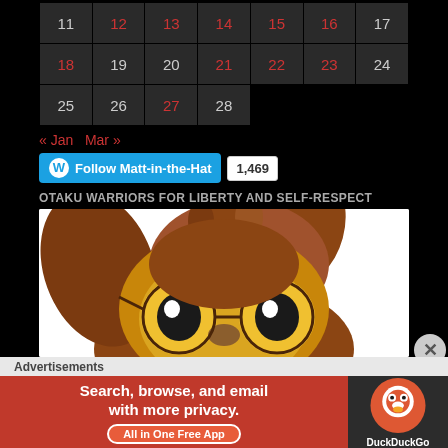| 11 | 12 | 13 | 14 | 15 | 16 | 17 |
| 18 | 19 | 20 | 21 | 22 | 23 | 24 |
| 25 | 26 | 27 | 28 |  |  |  |
« Jan   Mar »
[Figure (other): Follow Matt-in-the-Hat WordPress follow button with follower count 1,469]
OTAKU WARRIORS FOR LIBERTY AND SELF-RESPECT
[Figure (illustration): Cartoon owl character with large yellow eyes and brown feathers, looking upward]
Advertisements
[Figure (other): DuckDuckGo advertisement: Search, browse, and email with more privacy. All in One Free App]